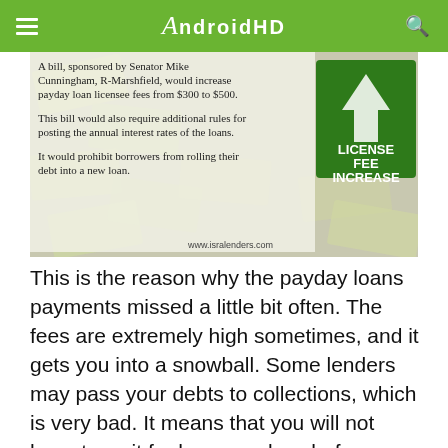AndroidHD
[Figure (infographic): An infographic about payday loan bill: A bill, sponsored by Senator Mike Cunningham, R-Marshfield, would increase payday loan licensee fees from $300 to $500. This bill would also require additional rules for posting the annual interest rates of the loans. It would prohibit borrowers from rolling their debt into a new loan. Features a green 'LICENSE FEE INCREASE' sign with an upward arrow, on a background of money bills. URL: www.isralenders.com]
This is the reason why the payday loans payments missed a little bit often. The fees are extremely high sometimes, and it gets you into a snowball. Some lenders may pass your debts to collections, which is very bad. It means that you will not have to wait for hours or days before you know if you are approved. The response will come in a matter of minutes after the application form is submitted. You can get funds within one business day, and this is very fats if compared to other lending companies. You’re seen as a high-risk debtor that can easily default on Missouri payday loan. You can still find offers for bad